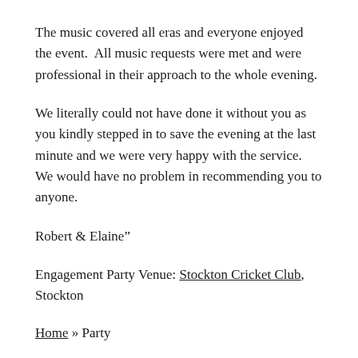The music covered all eras and everyone enjoyed the event.  All music requests were met and were professional in their approach to the whole evening.
We literally could not have done it without you as you kindly stepped in to save the evening at the last minute and we were very happy with the service.  We would have no problem in recommending you to anyone.
Robert & Elaine”
Engagement Party Venue: Stockton Cricket Club, Stockton
Home » Party